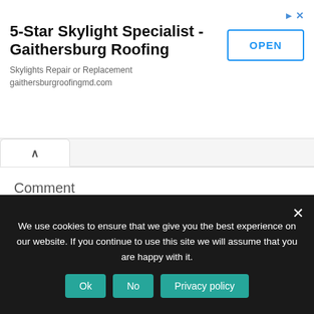[Figure (screenshot): Advertisement banner for 5-Star Skylight Specialist - Gaithersburg Roofing with OPEN button]
Comment
[Figure (screenshot): Empty comment textarea input box]
We use cookies to ensure that we give you the best experience on our website. If you continue to use this site we will assume that you are happy with it.
Ok  No  Privacy policy